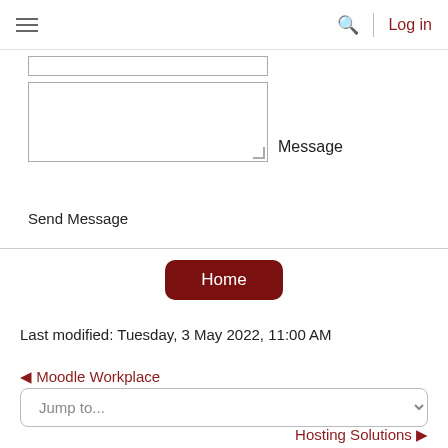≡  🔍 | Log in
[Figure (screenshot): A textarea form field with a resize handle, labeled 'Message' to the right]
Send Message
Home
Last modified: Tuesday, 3 May 2022, 11:00 AM
◀ Moodle Workplace
Jump to...
Hosting Solutions ▶